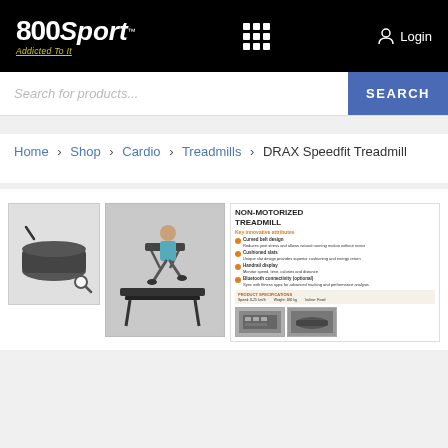800Sport - Addicted To It | Login
Search for products... SEARCH
Home > Shop > Cardio > Treadmills > DRAX Speedfit Treadmill
[Figure (photo): Thumbnail of DRAX Speedfit Treadmill black curved belt close-up with magnifier icon overlay]
[Figure (photo): Main product image of person running on DRAX Speedfit non-motorized treadmill]
[Figure (screenshot): Spec sheet for NON-MOTORIZED TREADMILL showing features and sub-images of console and belt]